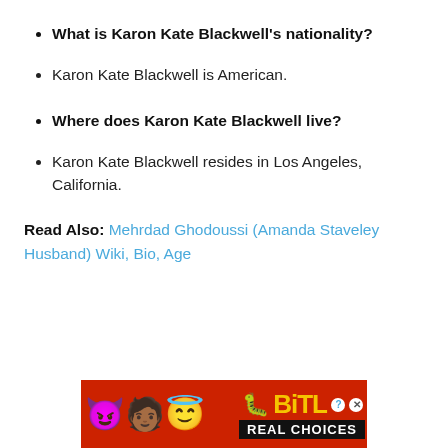What is Karon Kate Blackwell's nationality?
Karon Kate Blackwell is American.
Where does Karon Kate Blackwell live?
Karon Kate Blackwell resides in Los Angeles, California.
Read Also: Mehrdad Ghodoussi (Amanda Staveley Husband) Wiki, Bio, Age
[Figure (other): BitLife advertisement banner with emoji characters (devil, woman, angel face), sperm icon, BitLife logo in yellow, and 'REAL CHOICES' text on black background, on a red textured background.]